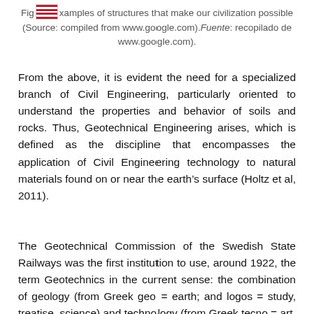Fig [flag] xamples of structures that make our civilization possible (Source: compiled from www.google.com). Fuente: recopilado de www.google.com).
From the above, it is evident the need for a specialized branch of Civil Engineering, particularly oriented to understand the properties and behavior of soils and rocks. Thus, Geotechnical Engineering arises, which is defined as the discipline that encompasses the application of Civil Engineering technology to natural materials found on or near the earth’s surface (Holtz et al, 2011).
The Geotechnical Commission of the Swedish State Railways was the first institution to use, around 1922, the term Geotechnics in the current sense: the combination of geology (from Greek geo = earth; and logos = study, treatise, science) and technology (from Greek tecno = art